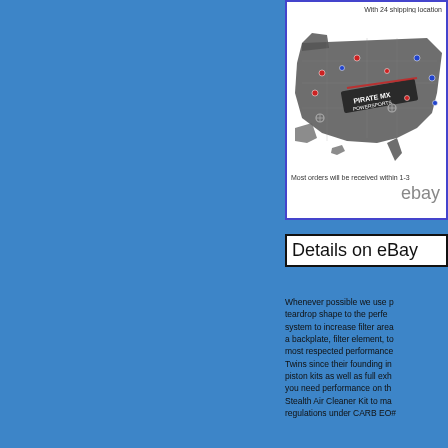[Figure (map): Map of USA with Pirate MX Powersports logo showing 24 shipping locations marked with colored dots across the United States]
With 24 shipping location
Most orders will be received within 1-3 d
ebay
Details on eBay
Whenever possible we use p teardrop shape to the perfe system to increase filter area a backplate, filter element, to most respected performance Twins since their founding in piston kits as well as full exh you need performance on th Stealth Air Cleaner Kit to ma regulations under CARB EO#